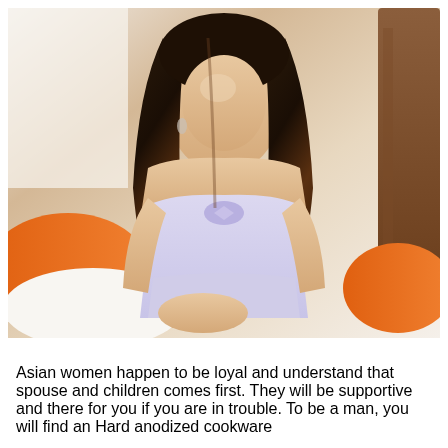[Figure (photo): A young woman with long dark hair wearing a light purple/lavender strapless dress, seated, with orange cushions visible in the background.]
Asian women happen to be loyal and understand that spouse and children comes first. They will be supportive and there for you if you are in trouble. To be a man, you will find an Hard anodized cookware